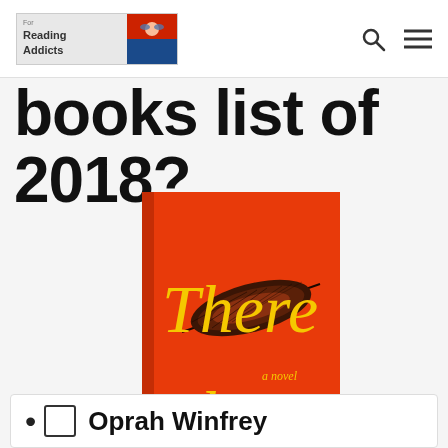For Reading Addicts
books list of 2018?
[Figure (illustration): Book cover of 'There There' by Tommy Orange. Orange background with yellow script text reading 'There There', two dark feathers, and subtitle 'a novel'. Author name 'Tommy Orange' in black handwriting at bottom.]
Oprah Winfrey